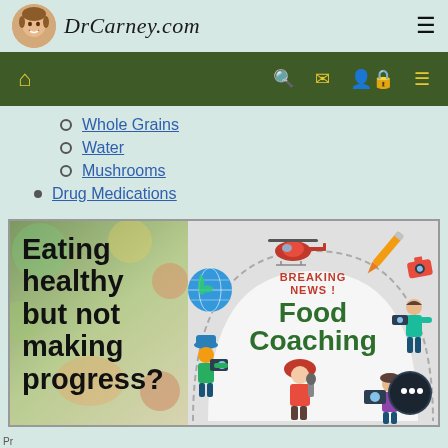DrCarney.com
[Figure (screenshot): Green navigation bar with home icon (yellow), search icon, mail icon, user icon, and hamburger menu icon on right]
Whole Grains
Water
Mushrooms
Drug Medications
[Figure (infographic): Two-panel banner. Left panel: 'Eating healthy but not making progress?' text in bold black on food photo background. Right panel: Breaking News Food Coaching infographic with helicopter, globe, photographers, and text 'BREAKING NEWS! Food Coaching' in red and green.]